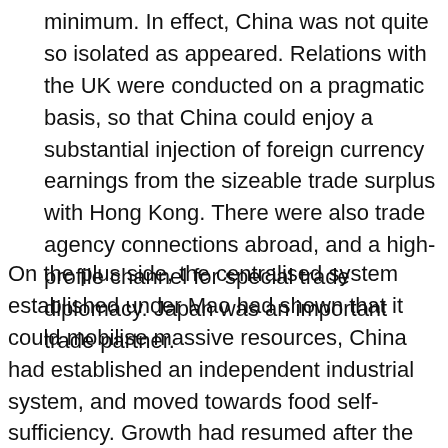minimum. In effect, China was not quite so isolated as appeared. Relations with the UK were conducted on a pragmatic basis, so that China could enjoy a substantial injection of foreign currency earnings from the sizeable trade surplus with Hong Kong. There were also trade agency connections abroad, and a high-profile channel for special trade diplomacy. Japan was an important trade partner.
On the plus side, the centralised system established under Mao had shown that it could mobilise massive resources, China had established an independent industrial system, and moved towards food self-sufficiency. Growth had resumed after the disastrous years of the early part of the century, and collective investments in health and education were showing significant returns. On the